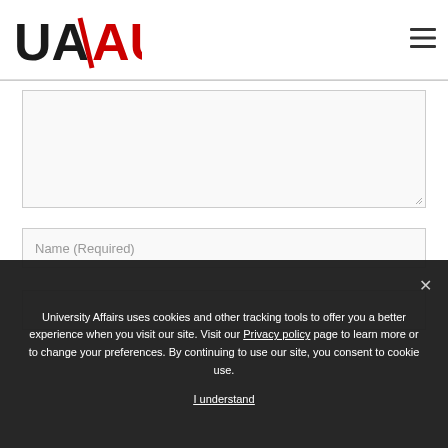[Figure (logo): UA/AU University Affairs logo with black UA and red AU text separated by a diagonal slash]
[Figure (other): Hamburger menu icon (three horizontal lines) in top right corner]
Name (Required)
University Affairs uses cookies and other tracking tools to offer you a better experience when you visit our site. Visit our Privacy policy page to learn more or to change your preferences. By continuing to use our site, you consent to cookie use.
I understand